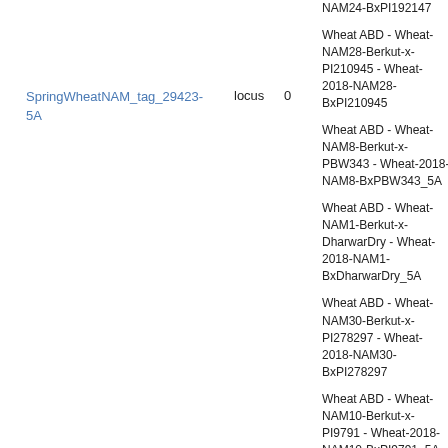SpringWheatNAM_tag_29423-5A
locus
0
Wheat ABD - Wheat-NAM28-Berkut-x-PI210945 - Wheat-2018-NAM28-BxPI210945
Wheat ABD - Wheat-NAM8-Berkut-x-PBW343 - Wheat-2018-NAM8-BxPBW343_5A
Wheat ABD - Wheat-NAM1-Berkut-x-DharwarDry - Wheat-2018-NAM1-BxDharwarDry_5A
Wheat ABD - Wheat-NAM30-Berkut-x-PI278297 - Wheat-2018-NAM30-BxPI278297
Wheat ABD - Wheat-NAM10-Berkut-x-PI9791 - Wheat-2018-NAM10-BxPI9791_5A
Wheat ABD - Wheat-NAM24-Berkut-x-PI192147 - Wheat-2018-NAM24-BxPI192147